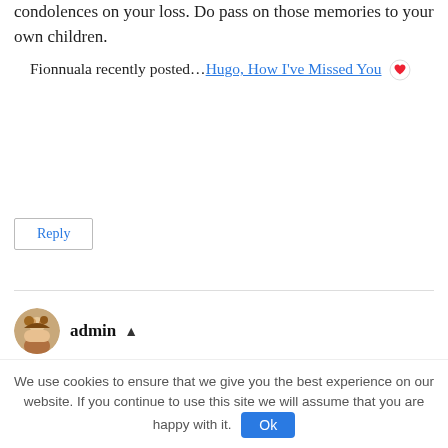condolences on your loss. Do pass on those memories to your own children.
Fionnuala recently posted…Hugo, How I've Missed You ❤
Reply
admin ▲
June 27, 2015 at 11:29 pm
I'm sorry to hear about your Nana too Fionnuala, and yes it's lovely to be able to
We use cookies to ensure that we give you the best experience on our website. If you continue to use this site we will assume that you are happy with it. Ok